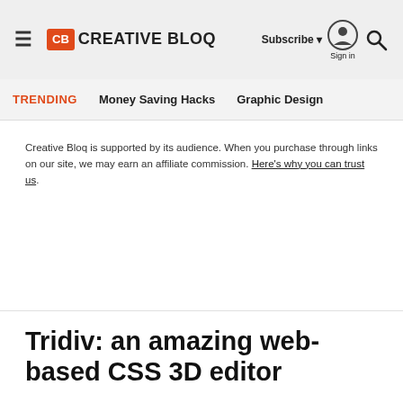CB CREATIVE BLOQ — Subscribe | Sign in | Search
TRENDING   Money Saving Hacks   Graphic Design
Creative Bloq is supported by its audience. When you purchase through links on our site, we may earn an affiliate commission. Here's why you can trust us.
Tridiv: an amazing web-based CSS 3D editor